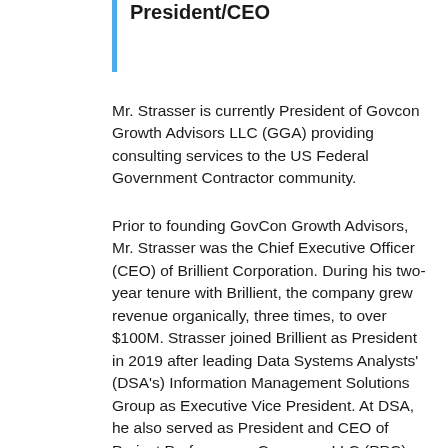President/CEO
Mr. Strasser is currently President of Govcon Growth Advisors LLC (GGA) providing consulting services to the US Federal Government Contractor community.
Prior to founding GovCon Growth Advisors, Mr. Strasser was the Chief Executive Officer (CEO) of Brillient Corporation. During his two-year tenure with Brillient, the company grew revenue organically, three times, to over $100M. Strasser joined Brillient as President in 2019 after leading Data Systems Analysts' (DSA's) Information Management Solutions Group as Executive Vice President. At DSA, he also served as President and CEO of Project Performance Company, LLC (PPC), a wholly owned subsidiary of Data Systems Analysts (DSA), following the